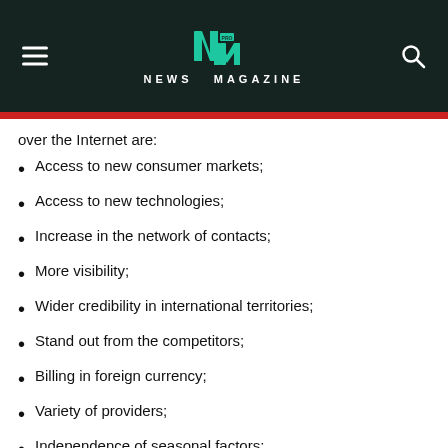NEWS MAGAZINE
over the Internet are:
Access to new consumer markets;
Access to new technologies;
Increase in the network of contacts;
More visibility;
Wider credibility in international territories;
Stand out from the competitors;
Billing in foreign currency;
Variety of providers;
Independence of seasonal factors;
Richness and continuity, the diversity of the products...